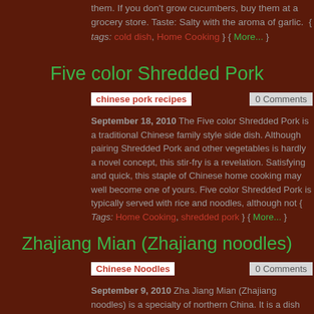them. If you don't grow cucumbers, buy them at a grocery store. Taste: Salty with the aroma of garlic. { tags: cold dish, Home Cooking } { More... }
Five color Shredded Pork
chinese pork recipes
0 Comments
September 18, 2010 The Five color Shredded Pork is a traditional Chinese family style side dish. Although pairing Shredded Pork and other vegetables is hardly a novel concept, this stir-fry is a revelation. Satisfying and quick, this staple of Chinese home cooking may well become one of yours. Five color Shredded Pork is typically served with rice and noodles, although not { Tags: Home Cooking, shredded pork } { More... }
Zhajiang Mian (Zhajiang noodles)
Chinese Noodles
0 Comments
September 9, 2010 Zha Jiang Mian (Zhajiang noodles) is a specialty of northern China. It is a dish consisting of thick wheat noodles topped with a mixture of ground pork stir-fried with fermented soybean paste. This dish is also popular in Korea, where it is known as Ja Jang Mein or Ja Jang Myun. Zhajiang Mian has been compared { Tags: Brown bean sauce, Home Cooking } { More... }